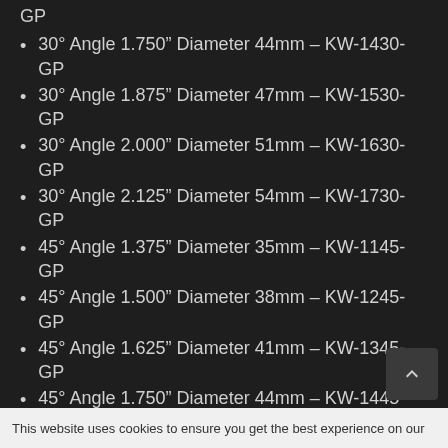30° Angle 1.750" Diameter 44mm – KW-1430-GP
30° Angle 1.875" Diameter 47mm – KW-1530-GP
30° Angle 2.000" Diameter 51mm – KW-1630-GP
30° Angle 2.125" Diameter 54mm – KW-1730-GP
45° Angle 1.375" Diameter 35mm – KW-1145-GP
45° Angle 1.500" Diameter 38mm – KW-1245-GP
45° Angle 1.625" Diameter 41mm – KW-1345-GP
45° Angle 1.750" Diameter 44mm – KW-1445-GP
45° Angle 1.875" Diameter 47mm – KW-1545-GP (partial)
This website uses cookies to ensure you get the best experience on our